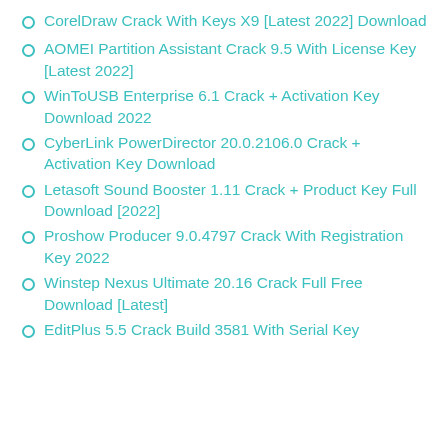CorelDraw Crack With Keys X9 [Latest 2022] Download
AOMEI Partition Assistant Crack 9.5 With License Key [Latest 2022]
WinToUSB Enterprise 6.1 Crack + Activation Key Download 2022
CyberLink PowerDirector 20.0.2106.0 Crack + Activation Key Download
Letasoft Sound Booster 1.11 Crack + Product Key Full Download [2022]
Proshow Producer 9.0.4797 Crack With Registration Key 2022
Winstep Nexus Ultimate 20.16 Crack Full Free Download [Latest]
EditPlus 5.5 Crack Build 3581 With Serial Key